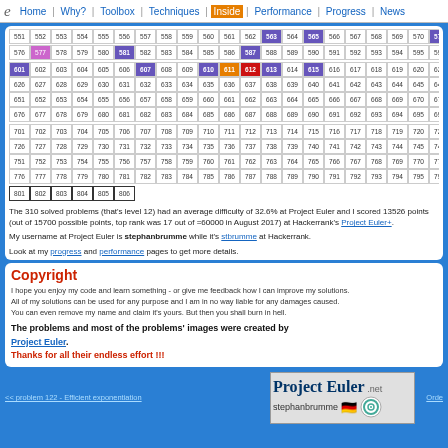e | Home | Why? | Toolbox | Techniques | Inside | Performance | Progress | News
[Figure (other): Grid of numbered cells (501-806) showing solved Project Euler problems highlighted in various colors (purple, pink, orange, red, blue). Outlined cells for 801-806.]
The 310 solved problems (that's level 12) had an average difficulty of 32.6% at Project Euler and I scored 13526 points (out of 15700 possible points, top rank was 17 out of =60000 in August 2017) at Hackerrank's Project Euler+.
My username at Project Euler is stephanbrumme while it's stbrumme at Hackerrank.
Look at my progress and performance pages to get more details.
Copyright
I hope you enjoy my code and learn something - or give me feedback how I can improve my solutions.
All of my solutions can be used for any purpose and I am in no way liable for any damages caused.
You can even remove my name and claim it's yours. But then you shall burn in hell.
The problems and most of the problems' images were created by Project Euler.
Thanks for all their endless effort !!!
<< problem 122 - Efficient exponentiation | Project Euler .net stephanbrumme | Orde